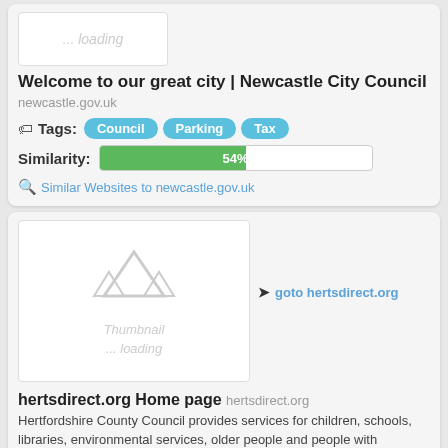[Figure (screenshot): Thumbnail loading placeholder for newcastle.gov.uk]
Welcome to our great city | Newcastle City Council newcastle.gov.uk
Tags: Council Parking Tax
Similarity: 54%
Similar Websites to newcastle.gov.uk
[Figure (screenshot): Thumbnail loading placeholder for hertsdirect.org with AVA icon]
goto hertsdirect.org
hertsdirect.org Home page hertsdirect.org
Hertfordshire County Council provides services for children, schools, libraries, environmental services, older people and people with disabilities among other businesses and organisations.